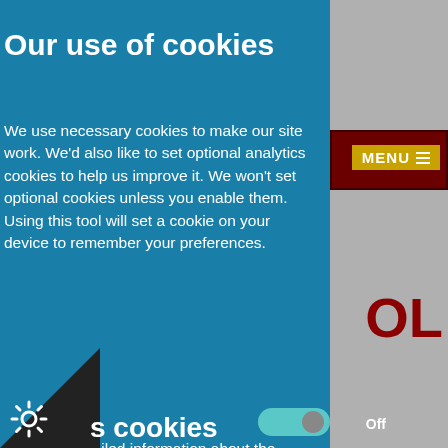Our use of cookies
We use necessary cookies to make our site work. We'd also like to set optional analytics cookies to help us improve it. We won't set optional cookies unless you enable them. Using this tool will set a cookie on your device to remember your preferences.
For more detailed information about the cookies we use, see our Cookies page [external link icon]
Necessary cookies
Necessary cookies enable core functionality such as security, network management, and accessibility. You may disable these by changing your browser settings, but this may affect how the website functions.
s cookies